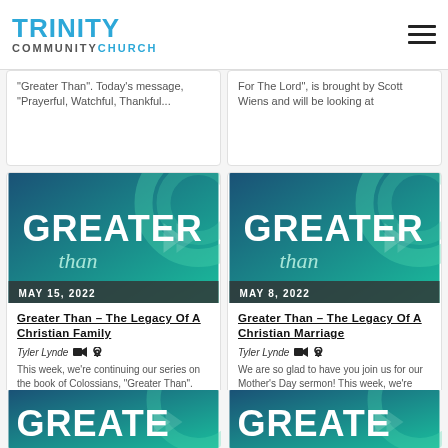Trinity Community Church
"Greater Than". Today's message, "Prayerful, Watchful, Thankful...
For The Lord", is brought by Scott Wiens and will be looking at
[Figure (photo): Greater Than sermon series card dated MAY 15, 2022]
Greater Than – The Legacy Of A Christian Family
Tyler Lynde
This week, we're continuing our series on the book of Colossians, "Greater Than". Today's message, "The Legacy Of A Christian Family", is brought by Tyler Lynde, and will
[Figure (photo): Greater Than sermon series card dated MAY 8, 2022]
Greater Than – The Legacy Of A Christian Marriage
Tyler Lynde
We are so glad to have you join us for our Mother's Day sermon! This week, we're continuing our series on the book of Colossians, "Greater Than" with today's message, "The
[Figure (photo): Greater Than sermon series card - partial bottom left]
[Figure (photo): Greater Than sermon series card - partial bottom right]